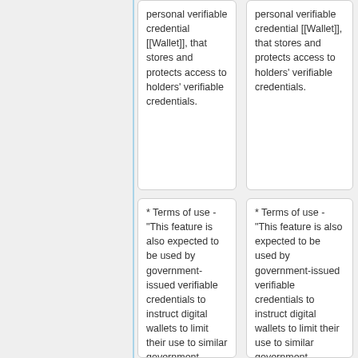personal verifiable credential [[Wallet]], that stores and protects access to holders' verifiable credentials.
personal verifiable credential [[Wallet]], that stores and protects access to holders' verifiable credentials.
* Terms of use - "This feature is also expected to be used by government-issued verifiable credentials to instruct digital wallets to limit their use to similar government organizations in
* Terms of use - "This feature is also expected to be used by government-issued verifiable credentials to instruct digital wallets to limit their use to similar government organizations in